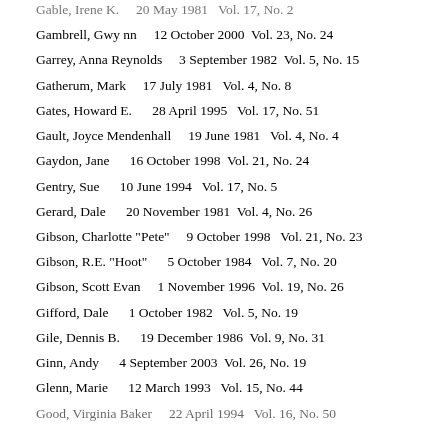Gable, Irene K.    20 May 1981   Vol. 17, No. 2
Gambrell, Gwy nn    12 October 2000  Vol. 23, No. 24
Garrey, Anna Reynolds    3 September 1982  Vol. 5, No. 15
Gatherum, Mark    17 July 1981   Vol. 4, No. 8
Gates, Howard E.    28 April 1995   Vol. 17, No. 51
Gault, Joyce Mendenhall   19 June 1981   Vol. 4, No. 4
Gaydon, Jane    16 October 1998  Vol. 21, No. 24
Gentry, Sue    10 June 1994   Vol. 17, No. 5
Gerard, Dale    20 November 1981  Vol. 4, No. 26
Gibson, Charlotte "Pete"   9 October 1998   Vol. 21, No. 23
Gibson, R.E. "Hoot"    5 October 1984   Vol. 7, No. 20
Gibson, Scott Evan    1 November 1996  Vol. 19, No. 26
Gifford, Dale    1 October 1982   Vol. 5, No. 19
Gile, Dennis B.    19 December 1986  Vol. 9, No. 31
Ginn, Andy    4 September 2003  Vol. 26, No. 19
Glenn, Marie    12 March 1993   Vol. 15, No. 44
Good, Virginia Baker   22 April 1994   Vol. 16, No. 50